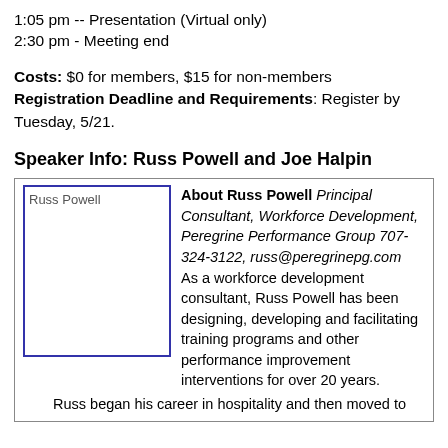1:05 pm -- Presentation (Virtual only)
2:30 pm - Meeting end
Costs: $0 for members, $15 for non-members
Registration Deadline and Requirements: Register by Tuesday, 5/21.
Speaker Info: Russ Powell and Joe Halpin
[Figure (photo): Photo placeholder of Russ Powell]
About Russ Powell Principal Consultant, Workforce Development, Peregrine Performance Group 707-324-3122, russ@peregrinepg.com As a workforce development consultant, Russ Powell has been designing, developing and facilitating training programs and other performance improvement interventions for over 20 years.
Russ began his career in hospitality and then moved to